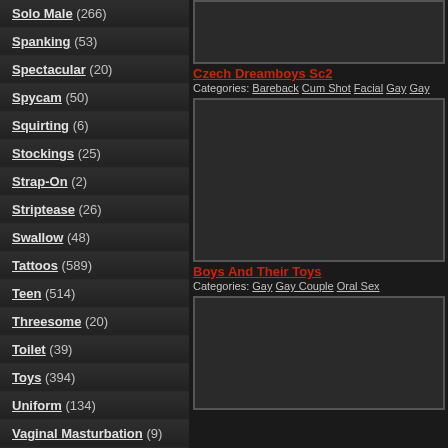Solo Male (266)
Spanking (53)
Spectacular (20)
Spycam (50)
Squirting (6)
Stockings (25)
Strap-On (2)
Striptease (26)
Swallow (48)
Tattoos (589)
Teen (514)
Threesome (20)
Toilet (39)
Toys (394)
Uniform (134)
Vaginal Masturbation (9)
Czech Dreamboys Sc2
Categories: Bareback Cum Shot Facial Gay Gay
Boys And Their Toys
Categories: Gay Gay Couple Oral Sex